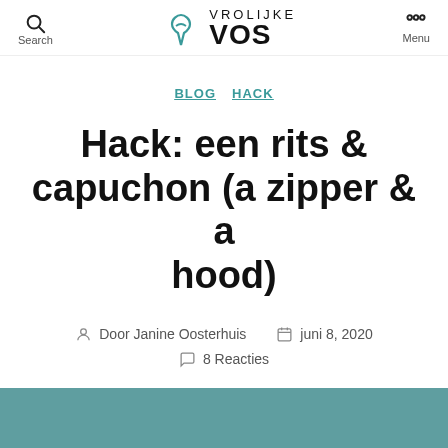Search  VROLIJKE VOS  Menu
BLOG  HACK
Hack: een rits & capuchon (a zipper & a hood)
Door Janine Oosterhuis   juni 8, 2020   8 Reacties